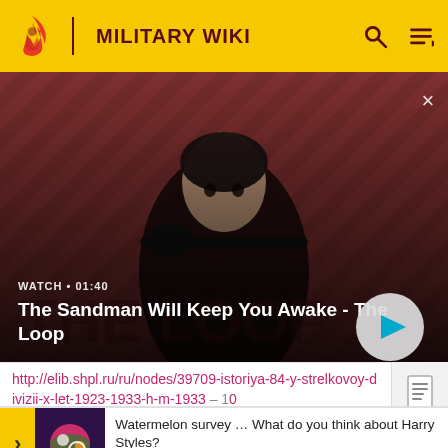MILITARY WIKI
[Figure (screenshot): Video banner showing The Sandman Will Keep You Awake - The Loop with a person in dark clothing and a bird on shoulder against red diagonal striped background. Play button visible. Watch • 01:40 label shown.]
WATCH • 01:40
The Sandman Will Keep You Awake - The Loop
http://elib.shpl.ru/ru/nodes/39709-istoriya-84-y-strelkovoy-divizii-x-let-1923-1933-h-m-1933 - 10
Watermelon survey … What do you think about Harry Styles?
TAKE THE SURVEY HERE